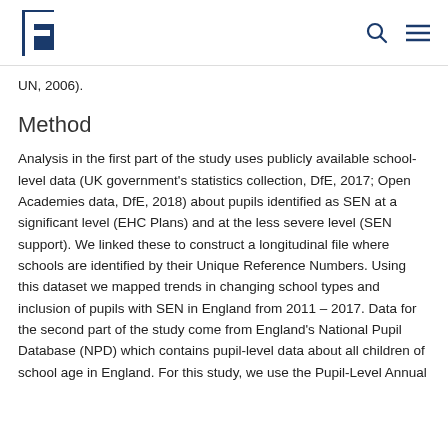e [logo] [search icon] [menu icon]
UN, 2006).
Method
Analysis in the first part of the study uses publicly available school-level data (UK government's statistics collection, DfE, 2017; Open Academies data, DfE, 2018) about pupils identified as SEN at a significant level (EHC Plans) and at the less severe level (SEN support). We linked these to construct a longitudinal file where schools are identified by their Unique Reference Numbers. Using this dataset we mapped trends in changing school types and inclusion of pupils with SEN in England from 2011 – 2017. Data for the second part of the study come from England's National Pupil Database (NPD) which contains pupil-level data about all children of school age in England. For this study, we use the Pupil-Level Annual